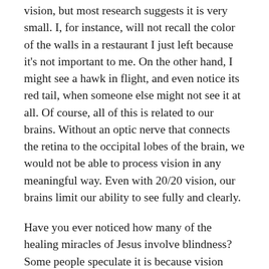vision, but most research suggests it is very small. I, for instance, will not recall the color of the walls in a restaurant I just left because it's not important to me. On the other hand, I might see a hawk in flight, and even notice its red tail, when someone else might not see it at all. Of course, all of this is related to our brains. Without an optic nerve that connects the retina to the occipital lobes of the brain, we would not be able to process vision in any meaningful way. Even with 20/20 vision, our brains limit our ability to see fully and clearly.
Have you ever noticed how many of the healing miracles of Jesus involve blindness? Some people speculate it is because vision problems were more prominent in those days, but I suspect there is a deeper message. Jesus healed blind people as a sign and symbol of the intellectual and spiritual myopia all humans suffer from. Simply put, Jesus wanted us